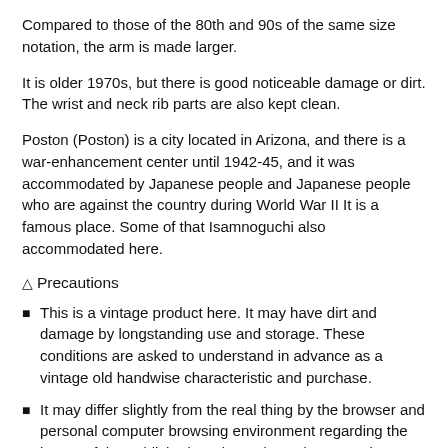Compared to those of the 80th and 90s of the same size notation, the arm is made larger.
It is older 1970s, but there is good noticeable damage or dirt. The wrist and neck rib parts are also kept clean.
Poston (Poston) is a city located in Arizona, and there is a war-enhancement center until 1942-45, and it was accommodated by Japanese people and Japanese people who are against the country during World War II It is a famous place. Some of that Isamnoguchi also accommodated here.
⚠Precautions
This is a vintage product here. It may have dirt and damage by longstanding use and storage. These conditions are asked to understand in advance as a vintage old handwise characteristic and purchase.
It may differ slightly from the real thing by the browser and personal computer browsing environment regarding the image of the published product. Please be aware in advance.